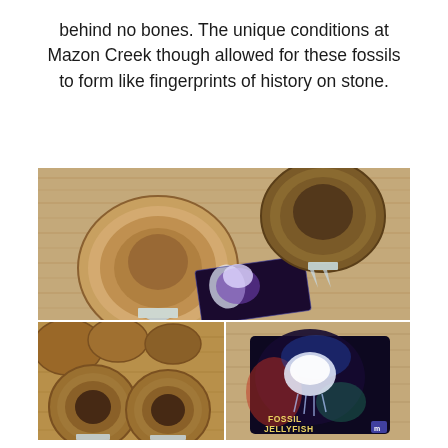behind no bones. The unique conditions at Mazon Creek though allowed for these fossils to form like fingerprints of history on stone.
[Figure (photo): Two split Mazon Creek concretions (nodules) on clear acrylic stands displaying jellyfish fossil impressions, with a colorful jellyfish art card, on a wood-grain surface.]
[Figure (photo): Close-up of multiple Mazon Creek concretion nodules, two split open showing dark circular fossil impressions on acrylic stands.]
[Figure (photo): Colorful jellyfish art card labeled 'FOSSIL JELLYFISH' with a small logo, displayed on a wood-grain surface.]